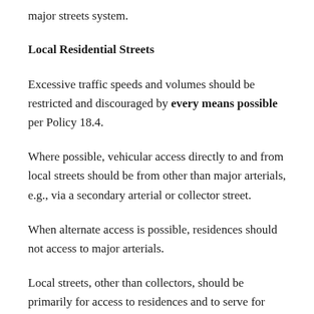major streets system.
Local Residential Streets
Excessive traffic speeds and volumes should be restricted and discouraged by every means possible per Policy 18.4.
Where possible, vehicular access directly to and from local streets should be from other than major arterials, e.g., via a secondary arterial or collector street.
When alternate access is possible, residences should not access to major arterials.
Local streets, other than collectors, should be primarily for access to residences and to serve for emergency